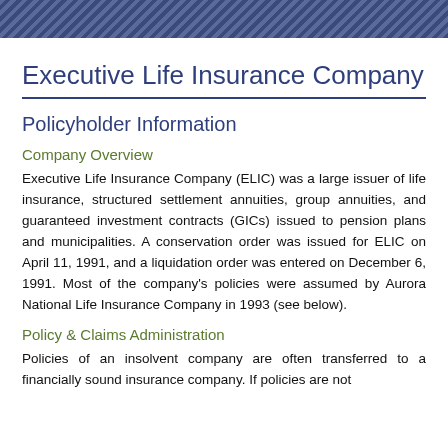Executive Life Insurance Company
Policyholder Information
Company Overview
Executive Life Insurance Company (ELIC) was a large issuer of life insurance, structured settlement annuities, group annuities, and guaranteed investment contracts (GICs) issued to pension plans and municipalities. A conservation order was issued for ELIC on April 11, 1991, and a liquidation order was entered on December 6, 1991. Most of the company's policies were assumed by Aurora National Life Insurance Company in 1993 (see below).
Policy & Claims Administration
Policies of an insolvent company are often transferred to a financially sound insurance company. If policies are not